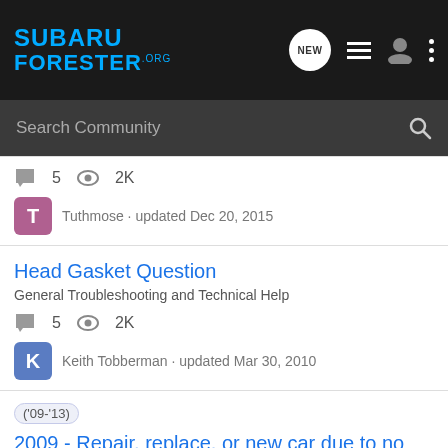SUBARU FORESTER.ORG
Search Community
5 replies · 2K views · Tuthmose · updated Dec 20, 2015
Head Gasket Question
General Troubleshooting and Technical Help
5 replies · 2K views · Keith Tobberman · updated Mar 30, 2010
('09-'13) 2009 - Repair, replace, or new car due to no compression in cylinder?
General Troubleshooting and Technical Help